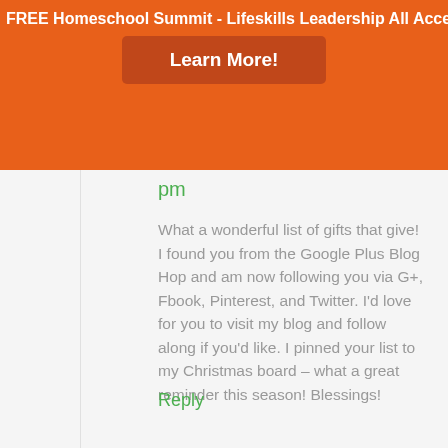FREE Homeschool Summit - Lifeskills Leadership All Access Pass
Learn More!
pm
What a wonderful list of gifts that give! I found you from the Google Plus Blog Hop and am now following you via G+, Fbook, Pinterest, and Twitter. I'd love for you to visit my blog and follow along if you'd like. I pinned your list to my Christmas board – what a great reminder this season! Blessings!
Reply